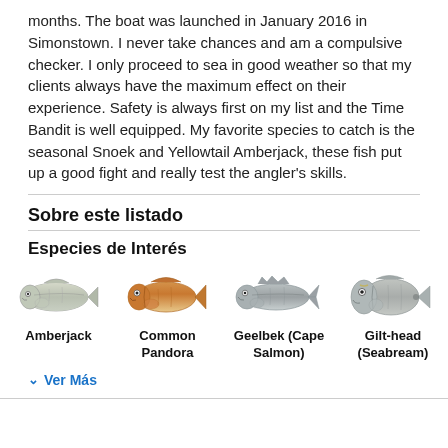months. The boat was launched in January 2016 in Simonstown. I never take chances and am a compulsive checker. I only proceed to sea in good weather so that my clients always have the maximum effect on their experience. Safety is always first on my list and the Time Bandit is well equipped. My favorite species to catch is the seasonal Snoek and Yellowtail Amberjack, these fish put up a good fight and really test the angler's skills.
Sobre este listado
Especies de Interés
[Figure (illustration): Four fish illustrations in a row: Amberjack, Common Pandora, Geelbek (Cape Salmon), Gilt-head (Seabream)]
✓ Ver Más